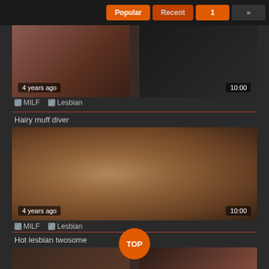[Figure (screenshot): Navigation bar with Popular, Recent, pagination buttons (1, »)]
[Figure (photo): Partially visible video thumbnail showing two figures, timestamp 10:00, dated 4 years ago]
MILF  Lesbian
Hairy muff diver
[Figure (photo): Video thumbnail showing two women kissing, timestamp 10:00, dated 4 years ago]
MILF  Lesbian
Hot lesbian twosome
[Figure (photo): Partially visible video thumbnail, TOP button overlaid]
TOP